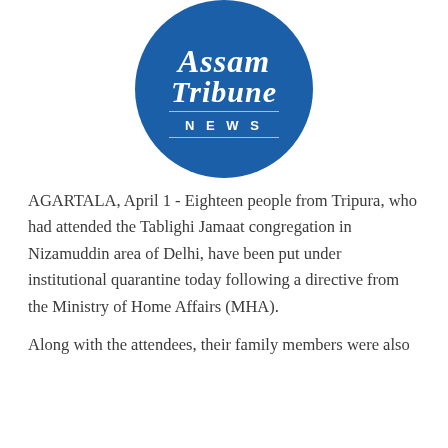[Figure (logo): Assam Tribune News circular logo — blue circle with white old-English style text 'Assam Tribune' and 'NEWS' in spaced capitals]
AGARTALA, April 1 - Eighteen people from Tripura, who had attended the Tablighi Jamaat congregation in Nizamuddin area of Delhi, have been put under institutional quarantine today following a directive from the Ministry of Home Affairs (MHA).
Along with the attendees, their family members were also...